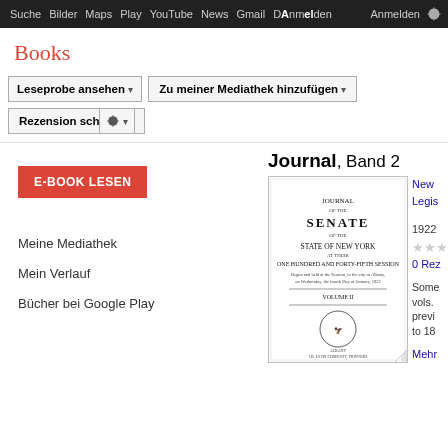Suche Bilder Maps Play YouTube News Gmail D... Anmelden ⚙
Books
Leseprobe ansehen ▾   Zu meiner Mediathek hinzufügen ▾
Rezension schreiben   ⚙ ▾
E-BOOK LESEN
Journal, Band 2
[Figure (photo): Book cover of 'Journal of the Senate of the State of New York at their One Hundred and Forty-Fifth Session, Volume II' (1922), with state seal]
New York (State). Legislature. Senate
1922
★★★
0 Rezensionen
Some pages may not show a preview. vols. - previews to 18...
Mehr
Meine Mediathek
Mein Verlauf
Bücher bei Google Play